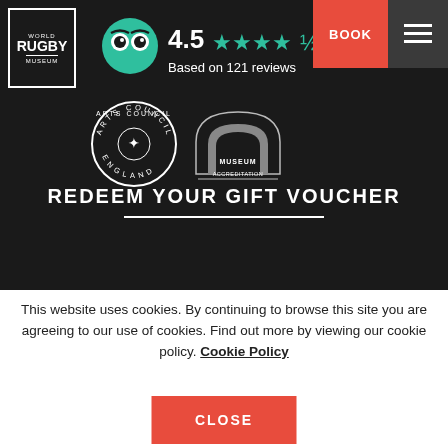[Figure (logo): World Rugby Museum logo — white text on dark background with border]
[Figure (other): TripAdvisor owl logo with rating 4.5 stars, based on 121 reviews]
[Figure (logo): Arts Council England circular logo]
[Figure (logo): Museum Accreditation logo]
REDEEM YOUR GIFT VOUCHER
This website uses cookies. By continuing to browse this site you are agreeing to our use of cookies. Find out more by viewing our cookie policy. Cookie Policy
CLOSE